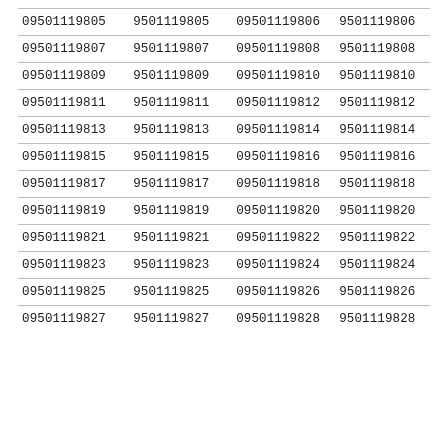| 09501119805 | 9501119805 | 09501119806 | 9501119806 |
| 09501119807 | 9501119807 | 09501119808 | 9501119808 |
| 09501119809 | 9501119809 | 09501119810 | 9501119810 |
| 09501119811 | 9501119811 | 09501119812 | 9501119812 |
| 09501119813 | 9501119813 | 09501119814 | 9501119814 |
| 09501119815 | 9501119815 | 09501119816 | 9501119816 |
| 09501119817 | 9501119817 | 09501119818 | 9501119818 |
| 09501119819 | 9501119819 | 09501119820 | 9501119820 |
| 09501119821 | 9501119821 | 09501119822 | 9501119822 |
| 09501119823 | 9501119823 | 09501119824 | 9501119824 |
| 09501119825 | 9501119825 | 09501119826 | 9501119826 |
| 09501119827 | 9501119827 | 09501119828 | 9501119828 |